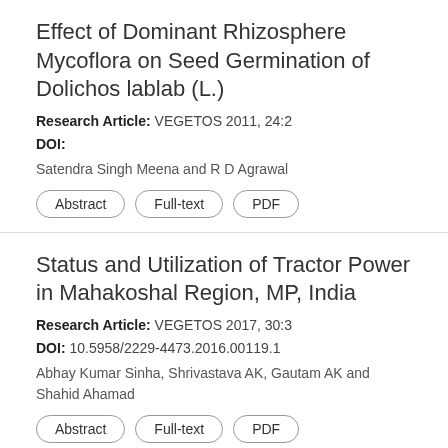Effect of Dominant Rhizosphere Mycoflora on Seed Germination of Dolichos lablab (L.)
Research Article: VEGETOS 2011, 24:2
DOI:
Satendra Singh Meena and R D Agrawal
Abstract
Full-text
PDF
Status and Utilization of Tractor Power in Mahakoshal Region, MP, India
Research Article: VEGETOS 2017, 30:3
DOI: 10.5958/2229-4473.2016.00119.1
Abhay Kumar Sinha, Shrivastava AK, Gautam AK and Shahid Ahamad
Abstract
Full-text
PDF
Effect of Pruning on Guava CV. Sardar Under Ultra High Density Orcharding System
Research Article: VEGETOS 2012, 25:2
DOI:
Sarita Mehta, Sanjay Kumar Singh, Bikash Das, B R Jana and